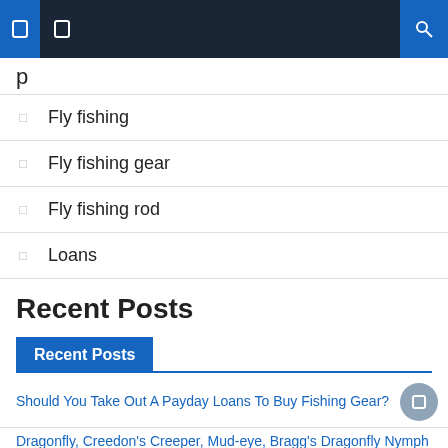Navigation bar with icons
Fly fishing
Fly fishing gear
Fly fishing rod
Loans
Recent Posts
Recent Posts
Should You Take Out A Payday Loans To Buy Fishing Gear?
Dragonfly, Creedon's Creeper, Mud-eye, Bragg's Dragonfly Nymph